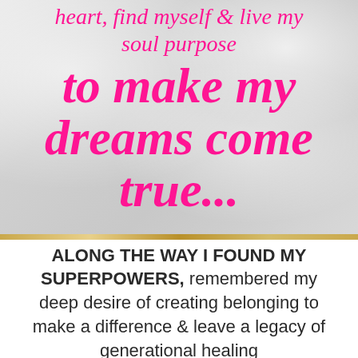[Figure (illustration): Marble/stone textured background with pink script text overlay reading 'heart, find myself & live my soul purpose to make my dreams come true...']
ALONG THE WAY I FOUND MY SUPERPOWERS, remembered my deep desire of creating belonging to make a difference & leave a legacy of generational healing